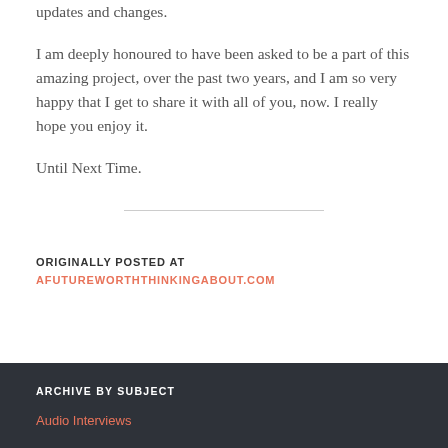updates and changes.
I am deeply honoured to have been asked to be a part of this amazing project, over the past two years, and I am so very happy that I get to share it with all of you, now. I really hope you enjoy it.
Until Next Time.
ORIGINALLY POSTED AT
AFUTUREWORTHTHINKINGABOUT.COM
ARCHIVE BY SUBJECT
Audio Interviews